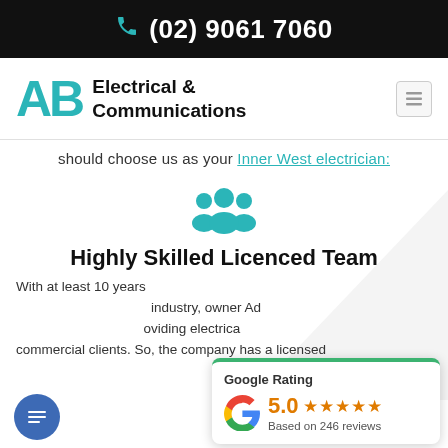(02) 9061 7060
[Figure (logo): AB Electrical & Communications logo with teal colored AB letters and bold black text]
should choose us as your Inner West electrician:
[Figure (illustration): Teal group/team icon showing three people silhouettes]
Highly Skilled Licenced Team
With at least 10 years industry, owner Ado providing electrica commercial clients. So, the company has a licensed
[Figure (infographic): Google Rating card showing 5.0 stars based on 246 reviews with green top border and Google G logo]